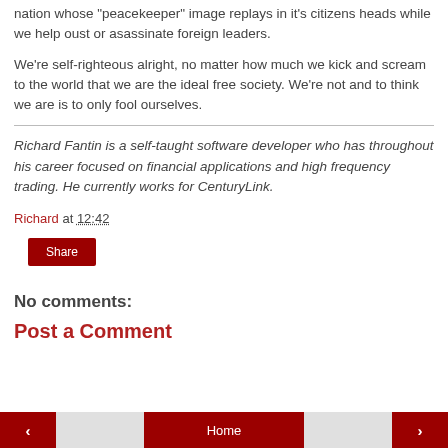nation whose "peacekeeper" image replays in it's citizens heads while we help oust or asassinate foreign leaders.
We're self-righteous alright, no matter how much we kick and scream to the world that we are the ideal free society. We're not and to think we are is to only fool ourselves.
Richard Fantin is a self-taught software developer who has throughout his career focused on financial applications and high frequency trading. He currently works for CenturyLink.
Richard at 12:42
Share
No comments:
Post a Comment
‹  Home  ›